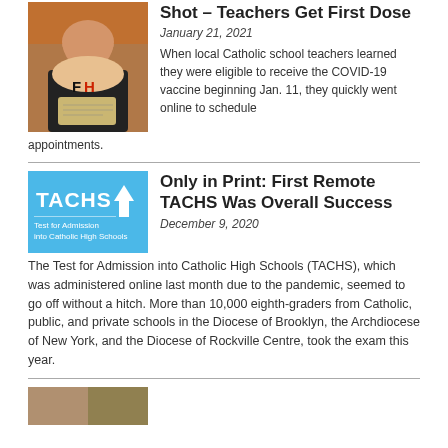[Figure (photo): Woman wearing a face mask with 'FH' letters, holding a vaccination card]
Shot – Teachers Get First Dose
January 21, 2021
When local Catholic school teachers learned they were eligible to receive the COVID-19 vaccine beginning Jan. 11, they quickly went online to schedule appointments.
[Figure (logo): TACHS logo – Test for Admission into Catholic High Schools, blue background with arrow icon]
Only in Print: First Remote TACHS Was Overall Success
December 9, 2020
The Test for Admission into Catholic High Schools (TACHS), which was administered online last month due to the pandemic, seemed to go off without a hitch. More than 10,000 eighth-graders from Catholic, public, and private schools in the Diocese of Brooklyn, the Archdiocese of New York, and the Diocese of Rockville Centre, took the exam this year.
[Figure (photo): Partial photo at bottom of page]